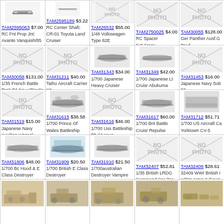| TAM2595063 $7.00 RC Fnt Prop Jnt: Avante Vanquish/85 | TAM2595189 $3.22 RC Center Shaft: CR-01 Toyota Land Cruiser | TAM26532 $55.00 1/48 Volkswagen Type 82E | TAM2750025 $4.00 RC Spacer 5x5.5mm: Grasshopper The Grasshopper II | TAM30055 $128.00 Ger Panther Ausf.G Prod. |
| TAM30058 $131.00 1/35 French Battle Tank B1 bis w/Single Motor | TAM31211 $40.00 Taiho Aircraft Carrier Kit | TAM31343 $34.00 1/700 Japanese Heavy Cruiser | TAM31349 $42.00 1/700 Japanese Lt Cruisr Abukuma | TAM31453 $16.00 Japanese Navy Sub 58 |
| TAM31519 $15.00 Japanese Navy Auxiliary Vessel | TAM31615 $38.58 1/700 Prince Of Wales Battleship | TAM31616 $46.00 1/700 Uss Battleship Bb-61 Iowa | TAM31617 $60.00 1/700 Brit Battle Cruisr Repulse | TAM31712 $51.71 1/700 US Aircraft Ca Yorktown CV-5 |
| TAM31806 $48.00 1/700 Bc Hood & E Class Destroyer | TAM31909 $20.50 1/700 British E Class Destroyer | TAM31910 $21.50 1/700australian Destroyer Vampire | TAM32407 $52.81 1/35 British LRDG Command Car 7pc | TAM32409 $28.61 32409 WWI British I w/Sm Arms & Equip |
| (image) | (image) | (image) | (image) | (image) |